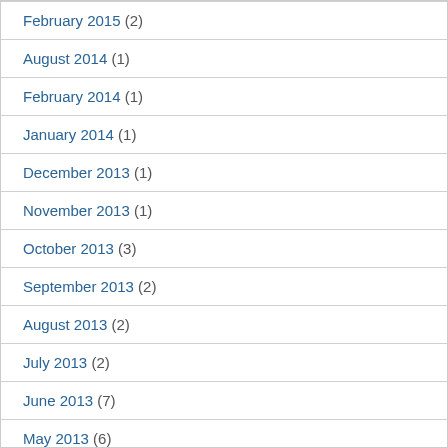February 2015 (2)
August 2014 (1)
February 2014 (1)
January 2014 (1)
December 2013 (1)
November 2013 (1)
October 2013 (3)
September 2013 (2)
August 2013 (2)
July 2013 (2)
June 2013 (7)
May 2013 (6)
April 2013 (5)
March 2013 (5)
February 2013 (4)